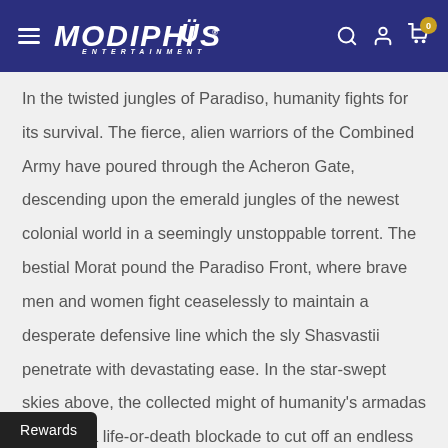Modiphius Entertainment
In the twisted jungles of Paradiso, humanity fights for its survival. The fierce, alien warriors of the Combined Army have poured through the Acheron Gate, descending upon the emerald jungles of the newest colonial world in a seemingly unstoppable torrent. The bestial Morat pound the Paradiso Front, where brave men and women fight ceaselessly to maintain a desperate defensive line which the sly Shasvastii penetrate with devastating ease. In the star-swept skies above, the collected might of humanity's armadas maintain a life-or-death blockade to cut off an endless horde of alien reinforcements. And if any of humanity's fractious forces should falter, then all may be
Rewards